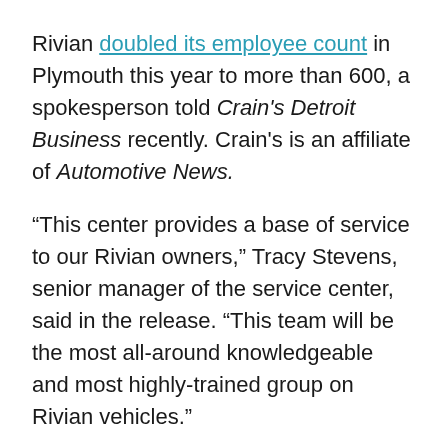Rivian doubled its employee count in Plymouth this year to more than 600, a spokesperson told Crain's Detroit Business recently. Crain's is an affiliate of Automotive News.
“This center provides a base of service to our Rivian owners,” Tracy Stevens, senior manager of the service center, said in the release. “This team will be the most all-around knowledgeable and most highly-trained group on Rivian vehicles.”
Rivian’s first production R1T electric pickup, which starts at $67,500, rolled off the line last week after recent launch delays and more than a decade of tinkering with prototypes, the company said. In August, the company filed for an IPO seeking a potential $80 billion valuation.